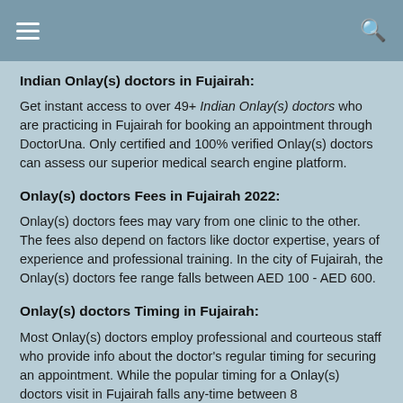Indian Onlay(s) doctors in Fujairah:
Get instant access to over 49+ Indian Onlay(s) doctors who are practicing in Fujairah for booking an appointment through DoctorUna. Only certified and 100% verified Onlay(s) doctors can assess our superior medical search engine platform.
Onlay(s) doctors Fees in Fujairah 2022:
Onlay(s) doctors fees may vary from one clinic to the other. The fees also depend on factors like doctor expertise, years of experience and professional training. In the city of Fujairah, the Onlay(s) doctors fee range falls between AED 100 - AED 600.
Onlay(s) doctors Timing in Fujairah:
Most Onlay(s) doctors employ professional and courteous staff who provide info about the doctor's regular timing for securing an appointment. While the popular timing for a Onlay(s) doctors visit in Fujairah falls any-time between 8